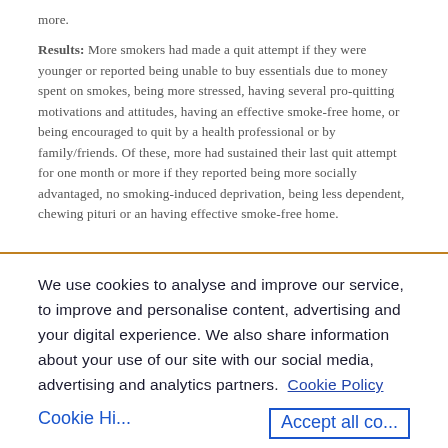more.
Results: More smokers had made a quit attempt if they were younger or reported being unable to buy essentials due to money spent on smokes, being more stressed, having several pro-quitting motivations and attitudes, having an effective smoke-free home, or being encouraged to quit by a health professional or by family/friends. Of these, more had sustained their last quit attempt for one month or more if they reported being more socially advantaged, no smoking-induced deprivation, being less dependent, chewing pituri or an having effective smoke-free home.
We use cookies to analyse and improve our service, to improve and personalise content, advertising and your digital experience. We also share information about your use of our site with our social media, advertising and analytics partners.  Cookie Policy
Cookie Hi...
Accept all co...